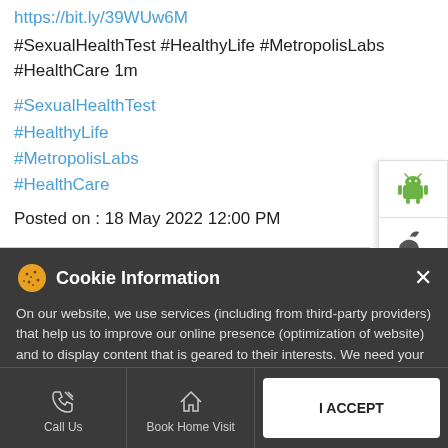https://bit.ly/39WUw6M
#SexualHealthTest #HealthyLife #MetropolisLabs #HealthCare 1m
#SexualHealthTest
#HealthyLife
#MetropolisLabs
#HealthCare
Posted on : 18 May 2022 12:00 PM
[Figure (screenshot): Cookie information banner overlay on dark background with close X button]
Cookie Information
On our website, we use services (including from third-party providers) that help us to improve our online presence (optimization of website) and to display content that is geared to their interests. We need your consent before being able to use these services.
Call Us | Book Home Visit | I ACCEPT | Directions